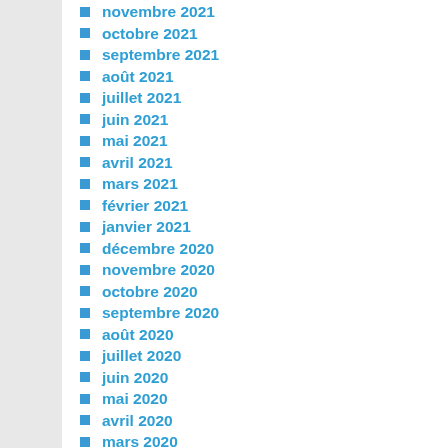novembre 2021
octobre 2021
septembre 2021
août 2021
juillet 2021
juin 2021
mai 2021
avril 2021
mars 2021
février 2021
janvier 2021
décembre 2020
novembre 2020
octobre 2020
septembre 2020
août 2020
juillet 2020
juin 2020
mai 2020
avril 2020
mars 2020
février 2020